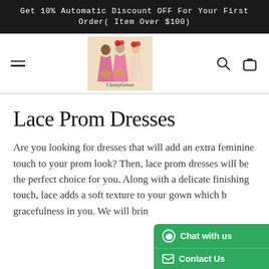Get 10% Automatic Discount OFF For Your First Order( Item Over $100)
[Figure (logo): ClassyGown logo with three illustrated women in pink prom dresses]
Lace Prom Dresses
Are you looking for dresses that will add an extra feminine touch to your prom look? Then, lace prom dresses will be the perfect choice for you. Along with a delicate finishing touch, lace adds a soft texture to your gown which brings gracefulness in you. We will brin…